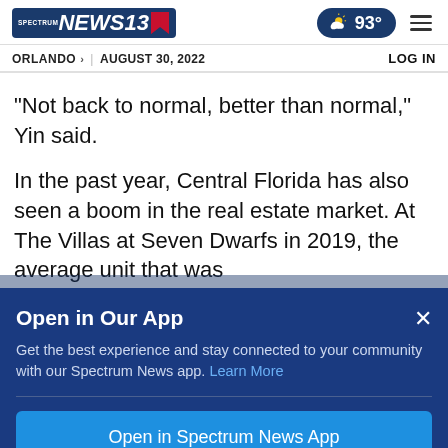Spectrum News 13 | Orlando | August 30, 2022 | 93° | LOG IN
“Not back to normal, better than normal,” Yin said.
In the past year, Central Florida has also seen a boom in the real estate market. At The Villas at Seven Dwarfs in 2019, the average unit that was
Open in Our App
Get the best experience and stay connected to your community with our Spectrum News app. Learn More
Open in Spectrum News App
Continue in Browser